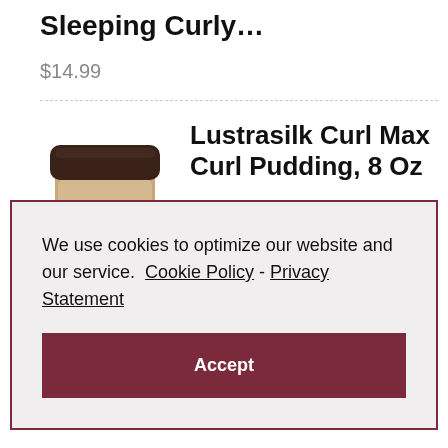Sleeping Curly…
$14.99
[Figure (photo): Product jar with dark brown lid for Lustrasilk Curl Max Curl Pudding]
Lustrasilk Curl Max Curl Pudding, 8 Oz
We use cookies to optimize our website and our service.  Cookie Policy - Privacy Statement
Accept